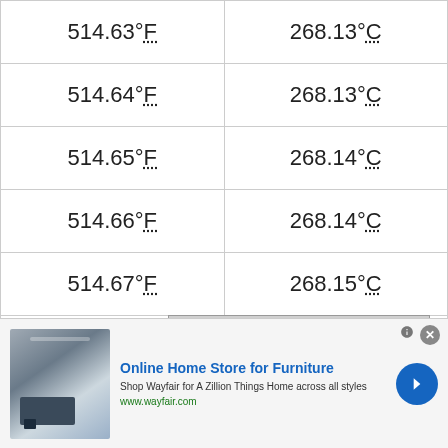| °F | °C |
| --- | --- |
| 514.63°F | 268.13°C |
| 514.64°F | 268.13°C |
| 514.65°F | 268.14°C |
| 514.66°F | 268.14°C |
| 514.67°F | 268.15°C |
| 514.68°F | 268.16°C |
| 514.69°F | 268.16°C |
| 514.7°F | 268.17°C |
| 514.71°F | 268.17°C |
[Figure (screenshot): Video player overlay showing 'How to Convert From Fahrenheit to C...' with 'No compatible source was found for this media.' message, close button, and search circle icon. Background shows CELSIUS ↔ FAHRENHEIT watermark.]
[Figure (screenshot): Advertisement banner: 'Online Home Store for Furniture' - Wayfair ad with appliance image, text 'Shop Wayfair for A Zillion Things Home across all styles', URL www.wayfair.com, and blue arrow button.]